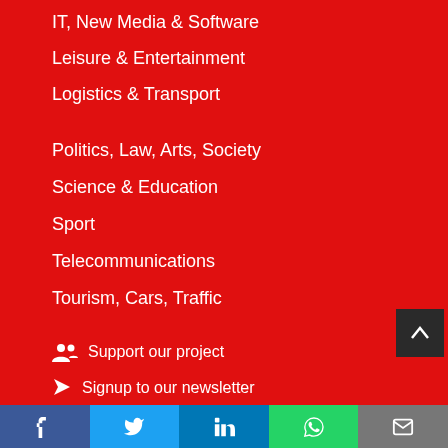IT, New Media & Software
Leisure & Entertainment
Logistics & Transport
Politics, Law, Arts, Society
Science & Education
Sport
Telecommunications
Tourism, Cars, Traffic
Support our project
Signup to our newsletter
Facebook
LinkedIn
[Figure (infographic): Social share bar with Facebook, Twitter, LinkedIn, WhatsApp, and email icons]